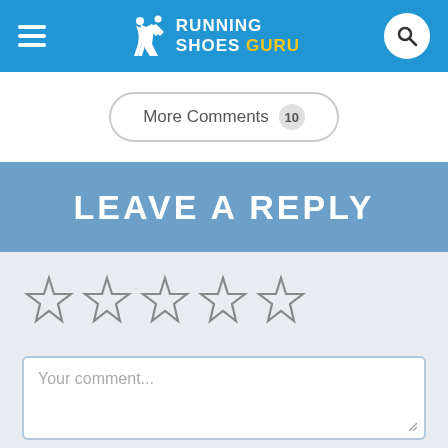Running Shoes Guru
More Comments 10
LEAVE A REPLY
[Figure (other): Five empty star rating icons for user rating input]
Your comment...
Let me know via email when a comment is added to the conversation.